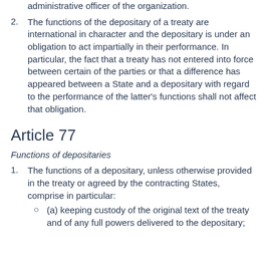administrative officer of the organization.
The functions of the depositary of a treaty are international in character and the depositary is under an obligation to act impartially in their performance. In particular, the fact that a treaty has not entered into force between certain of the parties or that a difference has appeared between a State and a depositary with regard to the performance of the latter's functions shall not affect that obligation.
Article 77
Functions of depositaries
The functions of a depositary, unless otherwise provided in the treaty or agreed by the contracting States, comprise in particular:
(a) keeping custody of the original text of the treaty and of any full powers delivered to the depositary;